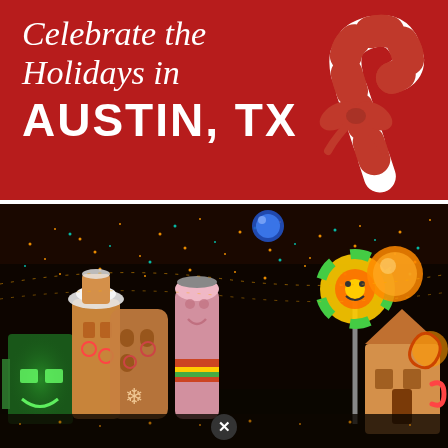Celebrate the Holidays in AUSTIN, TX
[Figure (illustration): Candy cane with red and white stripes and a red bow, on red background]
[Figure (photo): Night photo of colorful illuminated holiday decorations including whimsical gingerbread-style lantern characters, glowing orbs, and festive lights in trees at an outdoor holiday display in Austin, TX]